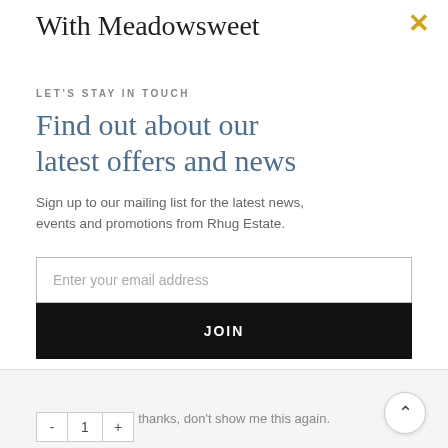With Meadowsweet
LET'S STAY IN TOUCH
Find out about our latest offers and news
Sign up to our mailing list for the latest news, events and promotions from Rhug Estate.
Enter your email address
JOIN
No thanks, don't show me this again.